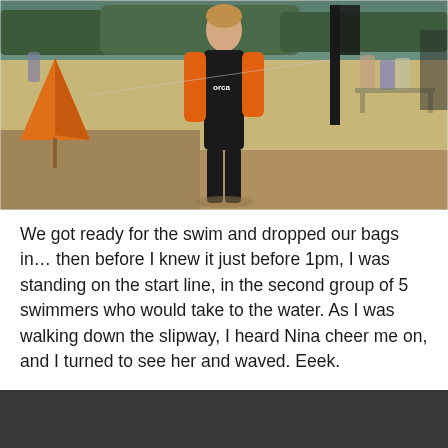[Figure (photo): Person in a black and orange wetsuit (Orca brand) standing on a sandy beach area at what appears to be a triathlon/open water swim event. An orange triangular buoy is visible on the left, a dark banner/flag in the background, and trees/water visible in the distance. Other people and equipment visible in background.]
We got ready for the swim and dropped our bags in… then before I knew it just before 1pm, I was standing on the start line, in the second group of 5 swimmers who would take to the water. As I was walking down the slipway, I heard Nina cheer me on, and I turned to see her and waved. Eeek.
[Figure (photo): Bottom portion of a photo, showing a dark/black area, appears to be the beginning of another image cropped at the bottom of the page.]